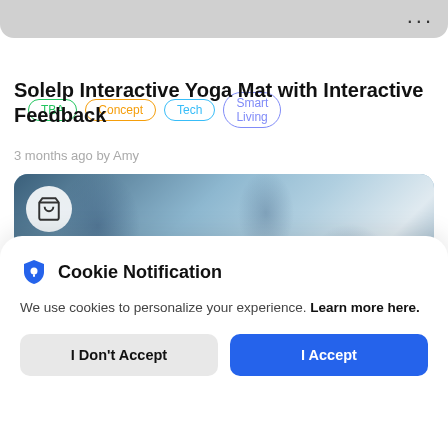[Figure (screenshot): Gray top navigation bar of a mobile app with three-dot menu icon on the right]
TBA
Concept
Tech
Smart Living
Solelp Interactive Yoga Mat with Interactive Feedback
3 months ago by Amy
[Figure (photo): Blue tie-dye yoga mat with a shopping cart icon overlay on the left side, partially visible product image]
Cookie Notification
We use cookies to personalize your experience. Learn more here.
I Don't Accept | I Accept